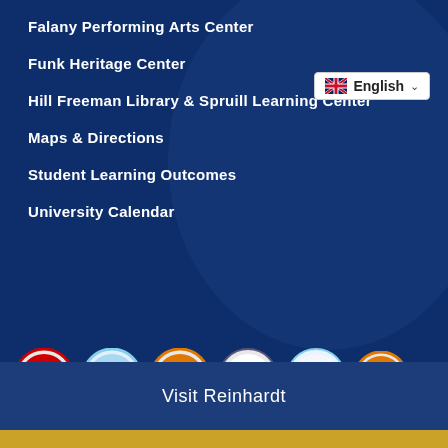Falany Performing Arts Center
Funk Heritage Center
Hill Freeman Library & Spruill Learning Center
Maps & Directions
Student Learning Outcomes
University Calendar
[Figure (illustration): Language selector button showing UK flag and 'English' text with dropdown arrow]
[Figure (illustration): Row of six circular badges: Georgia Colleges of Distinction, 2022-2023 Colleges of Distinction, Christian Colleges of Distinction, Business Colleges of Distinction, Education Colleges of Distinction, and one orange partner badge]
[Figure (illustration): Gold ribbon symbol (awareness ribbon)]
Visit Reinhardt